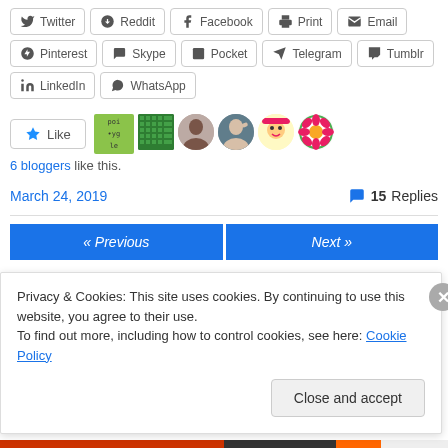Twitter
Reddit
Facebook
Print
Email
Pinterest
Skype
Pocket
Telegram
Tumblr
LinkedIn
WhatsApp
6 bloggers like this.
March 24, 2019
15 Replies
« Previous
Next »
Privacy & Cookies: This site uses cookies. By continuing to use this website, you agree to their use.
To find out more, including how to control cookies, see here: Cookie Policy
Close and accept